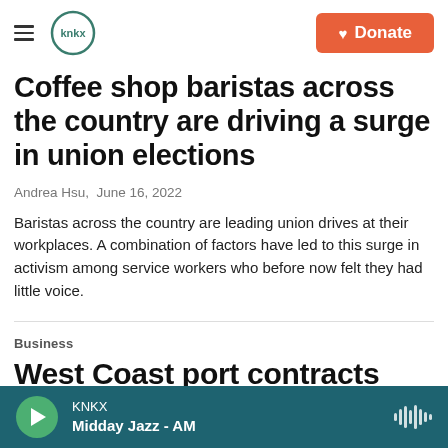KNKX | Donate
Coffee shop baristas across the country are driving a surge in union elections
Andrea Hsu,  June 16, 2022
Baristas across the country are leading union drives at their workplaces. A combination of factors have led to this surge in activism among service workers who before now felt they had little voice.
Business
West Coast port contracts could
KNKX  Midday Jazz - AM